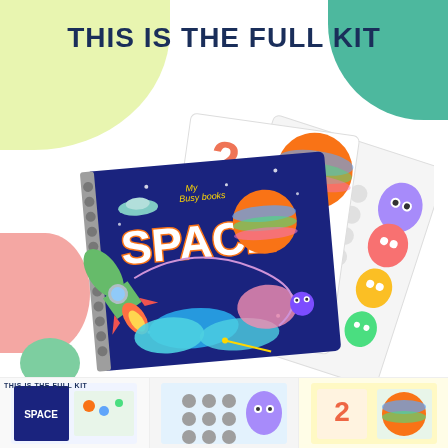This is the full kit
[Figure (photo): A colorful children's space-themed activity book titled 'My Busy Books SPACE' with a spiral binding, showing a rocket ship, planets, and stars on the cover. Behind the book are fan-spread activity cards featuring dot-sticker monsters/aliens and educational worksheets with numbers and patterns.]
[Figure (photo): Bottom strip showing three smaller thumbnail images of the full kit from different angles or similar products.]